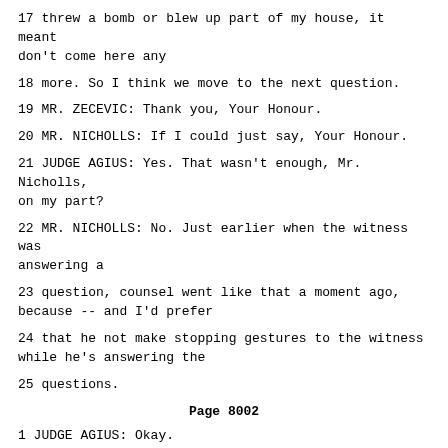17 threw a bomb or blew up part of my house, it meant don't come here any
18 more. So I think we move to the next question.
19 MR. ZECEVIC: Thank you, Your Honour.
20 MR. NICHOLLS: If I could just say, Your Honour.
21 JUDGE AGIUS: Yes. That wasn't enough, Mr. Nicholls, on my part?
22 MR. NICHOLLS: No. Just earlier when the witness was answering a
23 question, counsel went like that a moment ago, because -- and I'd prefer
24 that he not make stopping gestures to the witness while he's answering the
25 questions.
Page 8002
1 JUDGE AGIUS: Okay.
2 MR. ZECEVIC: Your Honours, I made this gesture just to slow him
3 down. And after that I said, "Please slow down." That is --